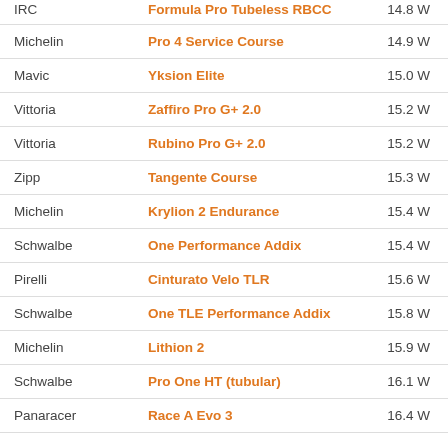| Brand | Model | Power |
| --- | --- | --- |
| IRC | Formula Pro Tubeless RBCC | 14.8 W |
| Michelin | Pro 4 Service Course | 14.9 W |
| Mavic | Yksion Elite | 15.0 W |
| Vittoria | Zaffiro Pro G+ 2.0 | 15.2 W |
| Vittoria | Rubino Pro G+ 2.0 | 15.2 W |
| Zipp | Tangente Course | 15.3 W |
| Michelin | Krylion 2 Endurance | 15.4 W |
| Schwalbe | One Performance Addix | 15.4 W |
| Pirelli | Cinturato Velo TLR | 15.6 W |
| Schwalbe | One TLE Performance Addix | 15.8 W |
| Michelin | Lithion 2 | 15.9 W |
| Schwalbe | Pro One HT (tubular) | 16.1 W |
| Panaracer | Race A Evo 3 | 16.4 W |